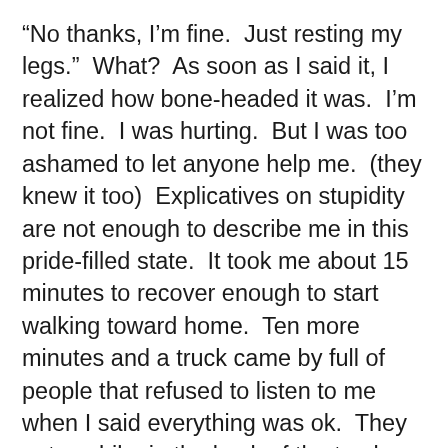“No thanks, I’m fine.  Just resting my legs.”  What?  As soon as I said it, I realized how bone-headed it was.  I’m not fine.  I was hurting.  But I was too ashamed to let anyone help me.  (they knew it too)  Explicatives on stupidity are not enough to describe me in this pride-filled state.  It took me about 15 minutes to recover enough to start walking toward home.  Ten more minutes and a truck came by full of people that refused to listen to me when I said everything was ok.  They put my bike in the back of the truck (and me too) and took me home.
We live in a Do It Yourself world.  Pull yourself